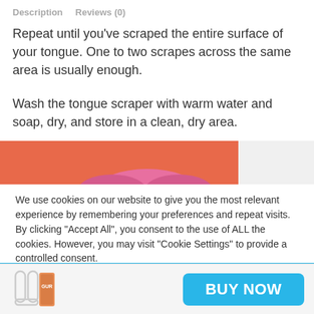Description   Reviews (0)
Repeat until you've scraped the entire surface of your tongue. One to two scrapes across the same area is usually enough.
Wash the tongue scraper with warm water and soap, dry, and store in a clean, dry area.
[Figure (illustration): Partial image of a tongue scraper product against an orange/coral background, partially cropped at bottom]
We use cookies on our website to give you the most relevant experience by remembering your preferences and repeat visits. By clicking "Accept All", you consent to the use of ALL the cookies. However, you may visit "Cookie Settings" to provide a controlled consent.
[Figure (photo): Product thumbnail image of a tongue scraper with packaging]
BUY NOW